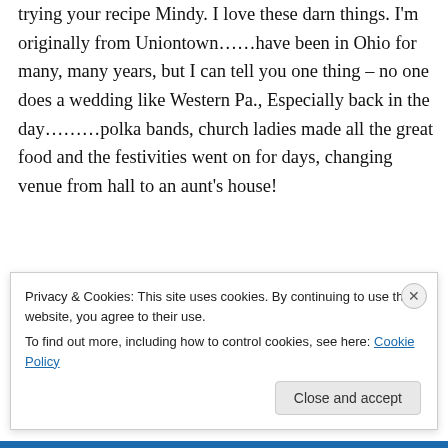trying your recipe Mindy. I love these darn things. I'm originally from Uniontown……have been in Ohio for many, many years, but I can tell you one thing – no one does a wedding like Western Pa., Especially back in the day………polka bands, church ladies made all the great food and the festivities went on for days, changing venue from hall to an aunt's house!
↳ Reply
Privacy & Cookies: This site uses cookies. By continuing to use this website, you agree to their use.
To find out more, including how to control cookies, see here: Cookie Policy